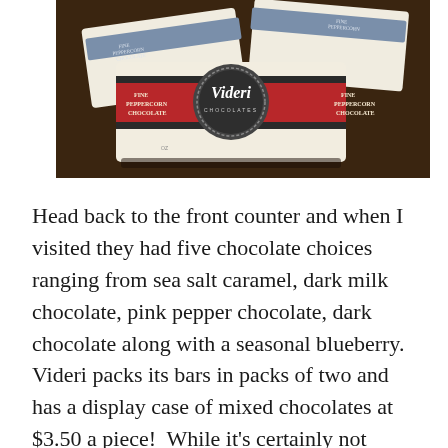[Figure (photo): Photo of Videri chocolate bars in white packaging with red and dark band, Videri logo medallion visible on the front bar, bars resting on a dark wooden surface.]
Head back to the front counter and when I visited they had five chocolate choices ranging from sea salt caramel, dark milk chocolate, pink pepper chocolate, dark chocolate along with a seasonal blueberry.  Videri packs its bars in packs of two and has a display case of mixed chocolates at $3.50 a piece!  While it's certainly not cheap, it